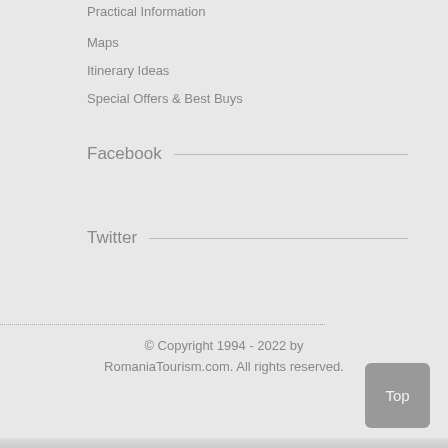Practical Information
Maps
Itinerary Ideas
Special Offers & Best Buys
Facebook
Twitter
© Copyright 1994 - 2022 by RomaniaTourism.com. All rights reserved.